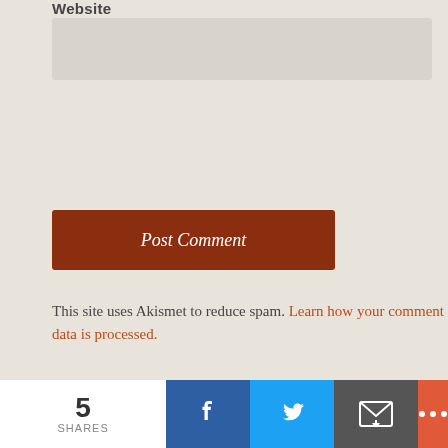Website
Post Comment
This site uses Akismet to reduce spam. Learn how your comment data is processed.
CONNECT WITH THE MANAGER
[Figure (infographic): Social media icons: Twitter, Facebook, YouTube, and a blog/RSS icon, all in red/orange color]
SEARCH ASKTHEMANAGER.COM
5 SHARES